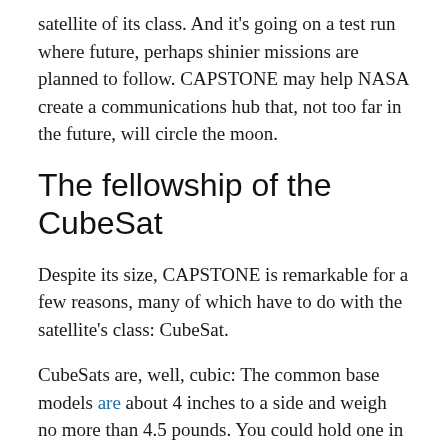satellite of its class. And it's going on a test run where future, perhaps shinier missions are planned to follow. CAPSTONE may help NASA create a communications hub that, not too far in the future, will circle the moon.
The fellowship of the CubeSat
Despite its size, CAPSTONE is remarkable for a few reasons, many of which have to do with the satellite's class: CubeSat.
CubeSats are, well, cubic: The common base models are about 4 inches to a side and weigh no more than 4.5 pounds. You could hold one in your hand; you might even build one by hand, too, since most use off-the-shelf components. You can stack them into larger satellites. CAPSTONE combines 12 CubeSats, shy of the largest to